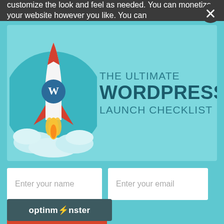customize the look and feel as needed. You can monetize your website however you like. You can
[Figure (screenshot): Popup modal with teal/aqua background showing a rocket ship with WordPress logo launching, with text 'THE ULTIMATE WORDPRESS LAUNCH CHECKLIST'. Below are form fields 'Enter your name' and 'Enter your email', a red 'Download Now' button, and an OptinMonster branding bar.]
Enter your name
Enter your email
Download Now
THE ULTIMATE WORDPRESS LAUNCH CHECKLIST
optinmonster